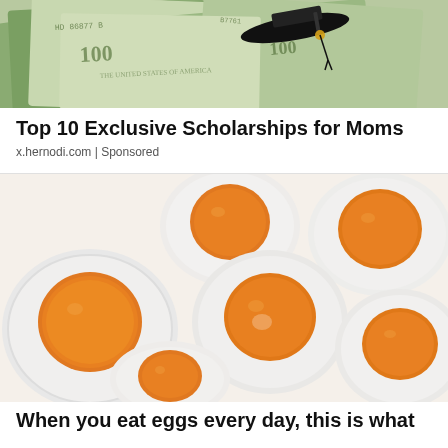[Figure (photo): Graduation cap resting on US dollar bills]
Top 10 Exclusive Scholarships for Moms
x.hernodi.com | Sponsored
[Figure (photo): Multiple soft-boiled eggs cut in half showing orange yolks]
When you eat eggs every day, this is what